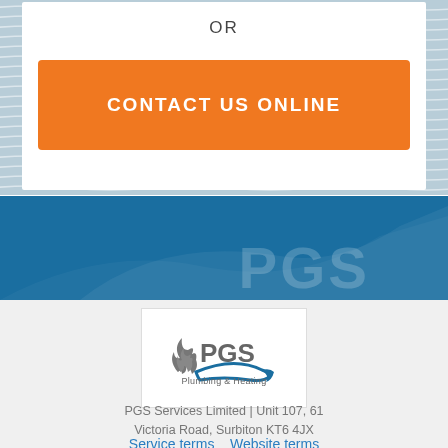OR
CONTACT US ONLINE
[Figure (logo): PGS Plumbing & Heating logo with flame icon and blue swoosh]
PGS Services Limited | Unit 107, 61 Victoria Road, Surbiton KT6 4JX
Service terms   Website terms   Privacy Policy   Service level promise